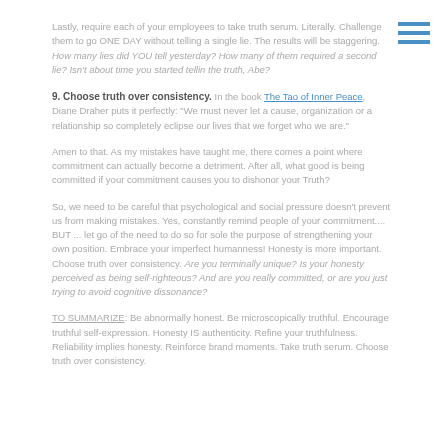Lastly, require each of your employees to take truth serum. Literally. Challenge them to go ONE DAY without telling a single lie. The results will be staggering. How many lies did YOU tell yesterday? How many of them required a second lie? Isn't about time you started tellin the truth, Abe?
9. Choose truth over consistency. In the book The Tao of Inner Peace, Diane Draher puts it perfectly: "We must never let a cause, organization or a relationship so completely eclipse our lives that we forget who we are."
Amen to that. As my mistakes have taught me, there comes a point where commitment can actually become a detriment. After all, what good is being committed if your commitment causes you to dishonor your Truth?
So, we need to be careful that psychological and social pressure doesn't prevent us from making mistakes. Yes, constantly remind people of your commitment.... BUT ... let go of the need to do so for sole the purpose of strengthening your own position. Embrace your imperfect humanness! Honesty is more important. Choose truth over consistency. Are you terminally unique? Is your honesty perceived as being self-righteous? And are you really committed, or are you just trying to avoid cognitive dissonance?
TO SUMMARIZE: Be abnormally honest. Be microscopically truthful. Encourage truthful self-expression. Honesty IS authenticity. Refine your truthfulness. Reliability implies honesty. Reinforce brand moments. Take truth serum. Choose truth over consistency.